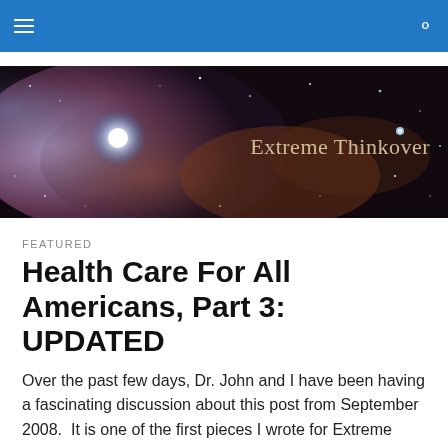≡  🔍
[Figure (illustration): Space/nebula banner image with stars and colorful clouds; white text 'Extreme Thinkover' on the right side]
FEATURED
Health Care For All Americans, Part 3: UPDATED
Over the past few days, Dr. John and I have been having a fascinating discussion about this post from September 2008.  It is one of the first pieces I wrote for Extreme Thinkover, before President Obama was elected, as well